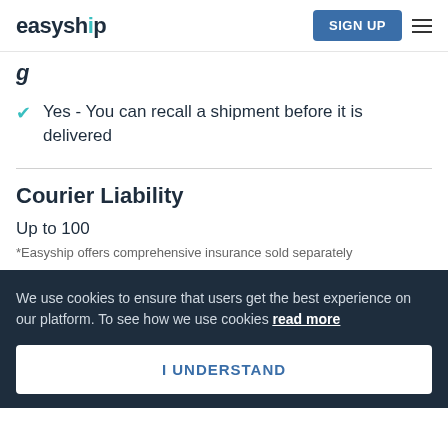easyship | SIGN UP
Yes - You can recall a shipment before it is delivered
Courier Liability
Up to 100
*Easyship offers comprehensive insurance sold separately
We use cookies to ensure that users get the best experience on our platform. To see how we use cookies read more
I UNDERSTAND